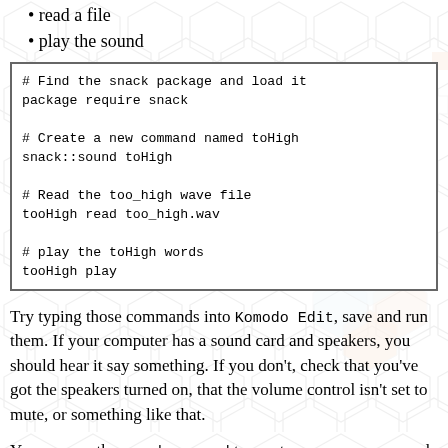read a file
play the sound
Try typing those commands into Komodo Edit, save and run them. If your computer has a sound card and speakers, you should hear it say something. If you don't, check that you've got the speakers turned on, that the volume control isn't set to mute, or something like that.
You can use the snack::sound to create as many new sound commands as you need. But, like the buttons and labels, each sound command needs a unique name.
Try modifying the previous commands to read the too_low.wav